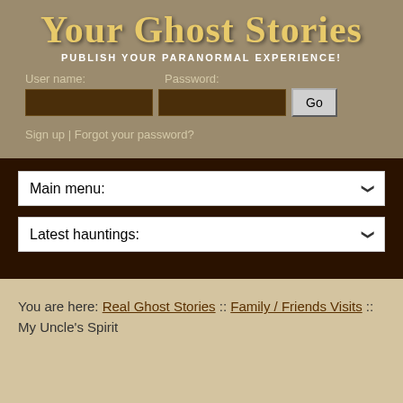Your Ghost Stories
PUBLISH YOUR PARANORMAL EXPERIENCE!
User name:  Password:
[Figure (screenshot): Login form with username and password fields and a Go button]
Sign up | Forgot your password?
[Figure (screenshot): Main menu dropdown selector]
[Figure (screenshot): Latest hauntings dropdown selector]
You are here: Real Ghost Stories :: Family / Friends Visits :: My Uncle's Spirit